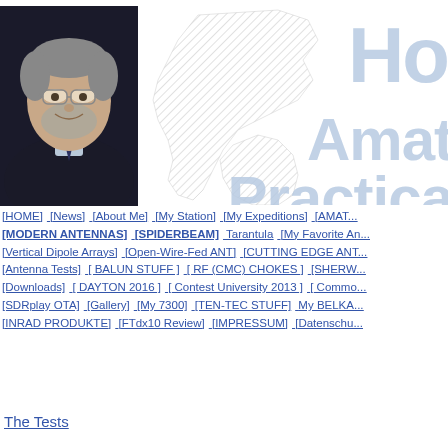[Figure (photo): Portrait photo of an older man with glasses and a grey beard, wearing a dark sweater and tie, smiling]
[Figure (illustration): Background map outline of the Americas with large light blue text overlay reading 'Ho', 'Amat', 'Practica' — partial website title banner]
[HOME]  [News]  [About Me]  [My Station]  [My Expeditions]  [AMAT...
[MODERN ANTENNAS]  [SPIDERBEAM]  Tarantula  [My Favorite An...
[Vertical Dipole Arrays]  [Open-Wire-Fed ANT]  [CUTTING EDGE ANT...
[Antenna Tests]  [ BALUN STUFF ]  [ RF (CMC) CHOKES ]  [SHERW...
[Downloads]  [ DAYTON 2016 ]  [ Contest University 2013 ]  [ Commo...
[SDRplay OTA]  [Gallery]  [My 7300]  [TEN-TEC STUFF]  My BELKA...
[INRAD PRODUKTE]  [FTdx10 Review]  [IMPRESSUM]  [Datenschu...
The Tests